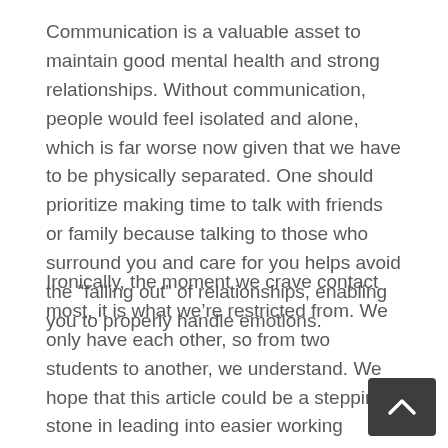Communication is a valuable asset to maintain good mental health and strong relationships. Without communication, people would feel isolated and alone, which is far worse now given that we have to be physically separated. One should prioritize making time to talk with friends or family because talking to those who surround you and care for you helps avoid the “falling out” of relationships, enabling you to properly handle emotions.
Ironically, the moment we crave contact most, it is what we're restricted from. We only have each other, so from two students to another, we understand. We hope that this article could be a stepping stone in leading into easier working conditions.